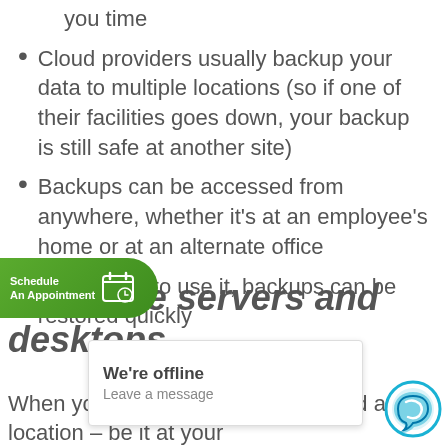you time
Cloud providers usually backup your data to multiple locations (so if one of their facilities goes down, your backup is still safe at another site)
Backups can be accessed from anywhere, whether it's at an employee's home or at an alternate office
If you need to use it, backups can be restored quickly
Virtualize servers and desktops
When you virtual... they can be used at any location – be it at your